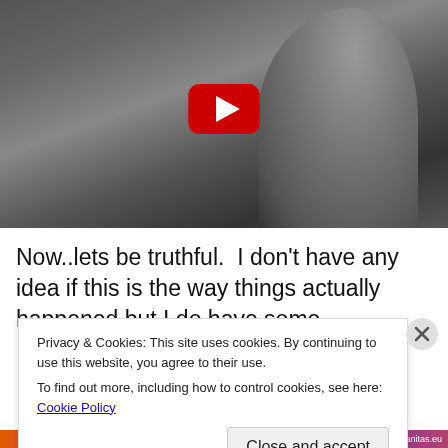[Figure (screenshot): YouTube video thumbnail showing a grayscale photo of a person (appears to be at a microphone on stage) with a red YouTube play button overlay in the center]
Now..lets be truthful.  I don't have any idea if this is the way things actually happened but I do have some
Privacy & Cookies: This site uses cookies. By continuing to use this website, you agree to their use.
To find out more, including how to control cookies, see here: Cookie Policy